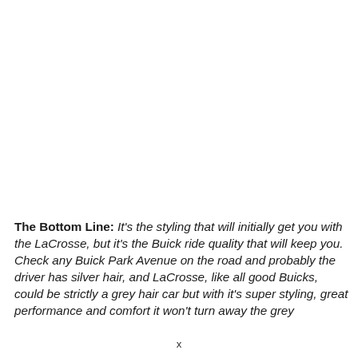The Bottom Line: It's the styling that will initially get you with the LaCrosse, but it's the Buick ride quality that will keep you. Check any Buick Park Avenue on the road and probably the driver has silver hair, and LaCrosse, like all good Buicks, could be strictly a grey hair car but with it's super styling, great performance and comfort it won't turn away the grey...
x